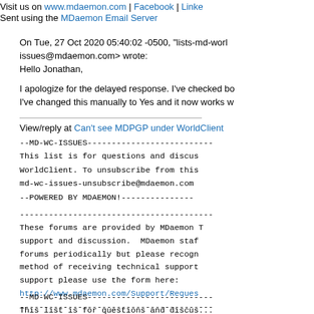Visit us on www.mdaemon.com | Facebook | LinkedIn
Sent using the MDaemon Email Server
On Tue, 27 Oct 2020 05:40:02 -0500, "lists-md-world-issues@mdaemon.com> wrote:
Hello Jonathan,
I apologize for the delayed response. I've checked bo... I've changed this manually to Yes and it now works w...
View/reply at Can't see MDPGP under WorldClient
--MD-WC-ISSUES---------------------------
This list is for questions and discus... WorldClient. To unsubscribe from this... md-wc-issues-unsubscribe@mdaemon.com
--POWERED BY MDAEMON!----------------
---------------------------------------
These forums are provided by MDaemon T... support and discussion. MDaemon staf... forums periodically but please recogn... method of receiving technical support... support please use the form here:
http://www.mdaemon.com/Support/Reques...
---------------------------------------
--MD-WC-ISSUES---------------------------
This list is for questions and discussion...